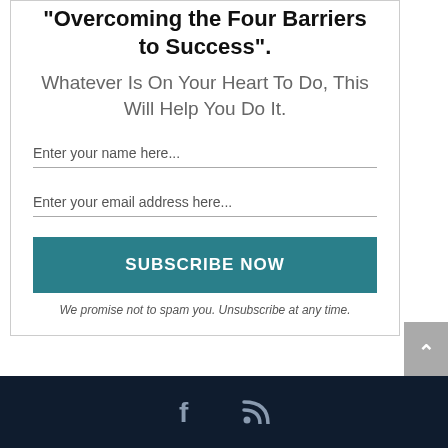"Overcoming the Four Barriers to Success".
Whatever Is On Your Heart To Do, This Will Help You Do It.
Enter your name here...
Enter your email address here...
SUBSCRIBE NOW
We promise not to spam you. Unsubscribe at any time.
[Facebook icon] [RSS icon]